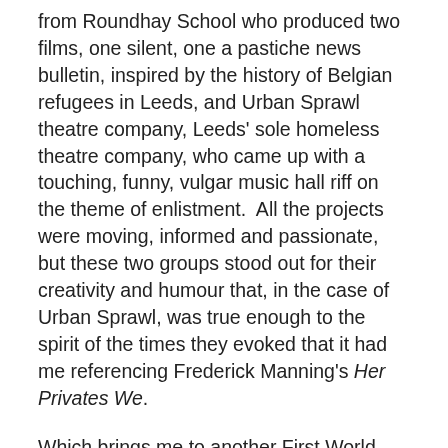from Roundhay School who produced two films, one silent, one a pastiche news bulletin, inspired by the history of Belgian refugees in Leeds, and Urban Sprawl theatre company, Leeds' sole homeless theatre company, who came up with a touching, funny, vulgar music hall riff on the theme of enlistment.  All the projects were moving, informed and passionate, but these two groups stood out for their creativity and humour that, in the case of Urban Sprawl, was true enough to the spirit of the times they evoked that it had me referencing Frederick Manning's Her Privates We.
Which brings me to another First World War event from last week, this one a launch rather than a culmination.  14-18 NOW, which launched officially on 27th March, is an Arts Council and Heritage Lottery Fund funded series of events, hosted by the Imperial War Museum and taking